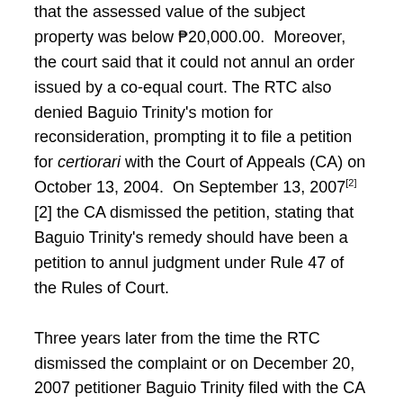that the assessed value of the subject property was below ₱20,000.00. Moreover, the court said that it could not annul an order issued by a co-equal court. The RTC also denied Baguio Trinity's motion for reconsideration, prompting it to file a petition for certiorari with the Court of Appeals (CA) on October 13, 2004. On September 13, 2007[2][2] the CA dismissed the petition, stating that Baguio Trinity's remedy should have been a petition to annul judgment under Rule 47 of the Rules of Court.
Three years later from the time the RTC dismissed the complaint or on December 20, 2007 petitioner Baguio Trinity filed with the CA a petition for annulment of the reconstitution orders that the RTC of Agoo, Branch 31, issued on October 20, 1986 and October 28, 1986, impleading the Ramos and Nona heirs. Baguio Trinity